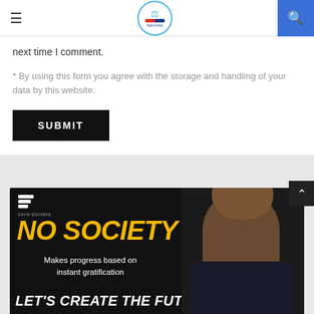Advocate website header with hamburger menu, logo, and search button
next time I comment.
* By using this form you agree with the storage and handling of your data by this website.
SUBMIT
[Figure (infographic): Dark banner ad with yellow 'NO SOCIETY' text, subtitle 'Makes progress based on instant gratification', bottom text 'LET'S CREATE THE FUTURE', man in suit photo on right, yellow circle top right, brand logo top left]